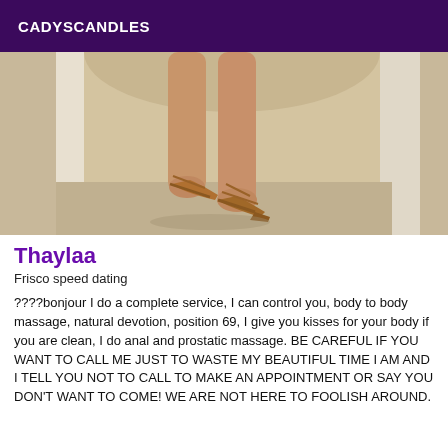CADYSCANDLES
[Figure (photo): Photo showing the lower legs and feet of a person wearing strappy high-heeled sandals, standing in a doorway or archway with stone/concrete surfaces visible.]
Thaylaa
Frisco speed dating
????bonjour I do a complete service, I can control you, body to body massage, natural devotion, position 69, I give you kisses for your body if you are clean, I do anal and prostatic massage. BE CAREFUL IF YOU WANT TO CALL ME JUST TO WASTE MY BEAUTIFUL TIME I AM AND I TELL YOU NOT TO CALL TO MAKE AN APPOINTMENT OR SAY YOU DON'T WANT TO COME! WE ARE NOT HERE TO FOOLISH AROUND.